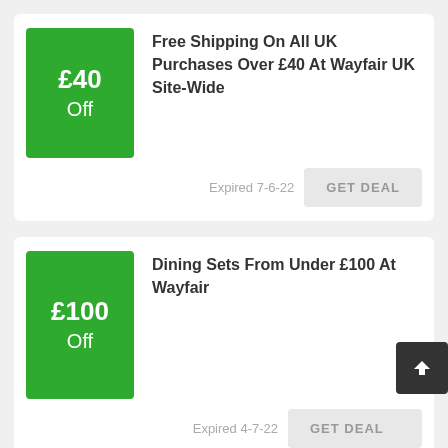£40 Off
Free Shipping On All UK Purchases Over £40 At Wayfair UK Site-Wide
Expired 7-6-22
GET DEAL
£100 Off
Dining Sets From Under £100 At Wayfair
Expired 4-7-22
GET DEAL